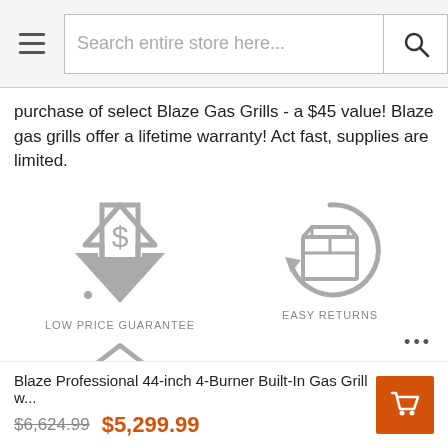Search entire store here...
purchase of select Blaze Gas Grills - a $45 value! Blaze gas grills offer a lifetime warranty! Act fast, supplies are limited.
[Figure (illustration): Low Price Guarantee icon: a downward arrow with a dollar sign inside it]
[Figure (illustration): Easy Returns icon: a box with a circular return arrow above it]
[Figure (illustration): Home/indoor icon: a house shape with signal waves, partially visible]
[Figure (illustration): 40+ icon text, partially visible at bottom]
Blaze Professional 44-inch 4-Burner Built-In Gas Grill w...
$6,624.99  $5,299.99